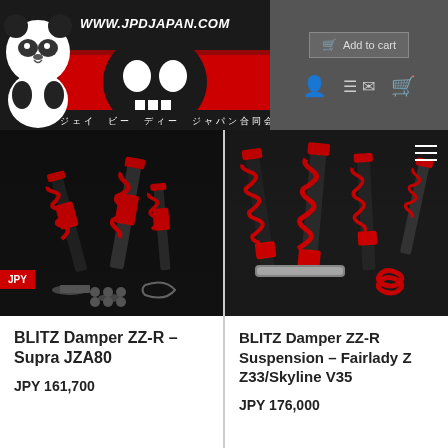[Figure (logo): JPD Japan website logo with panda mascot and skull graphic, URL www.jpdjapan.com, Japanese text below]
[Figure (screenshot): Website header right side with Add to cart button and navigation icons]
[Figure (photo): BLITZ Damper ZZ-R coilover suspension kit product photo - Supra JZA80, dark background]
BLITZ Damper ZZ-R – Supra JZA80
JPY 161,700
[Figure (photo): BLITZ Damper ZZ-R coilover suspension kit product photo - Fairlady Z Z33/Skyline V35, dark background]
BLITZ Damper ZZ-R Suspension – Fairlady Z Z33/Skyline V35
JPY 176,000